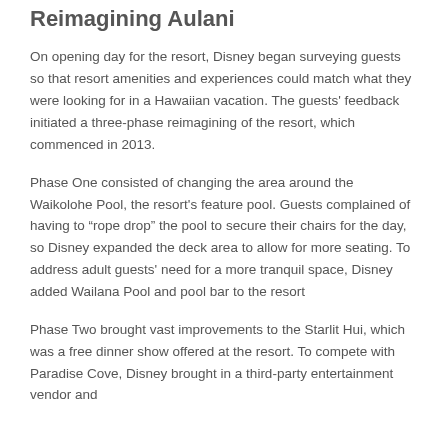Reimagining Aulani
On opening day for the resort, Disney began surveying guests so that resort amenities and experiences could match what they were looking for in a Hawaiian vacation. The guests' feedback initiated a three-phase reimagining of the resort, which commenced in 2013.
Phase One consisted of changing the area around the Waikolohe Pool, the resort's feature pool. Guests complained of having to “rope drop” the pool to secure their chairs for the day, so Disney expanded the deck area to allow for more seating. To address adult guests' need for a more tranquil space, Disney added Wailana Pool and pool bar to the resort
Phase Two brought vast improvements to the Starlit Hui, which was a free dinner show offered at the resort. To compete with Paradise Cove, Disney brought in a third-party entertainment vendor and